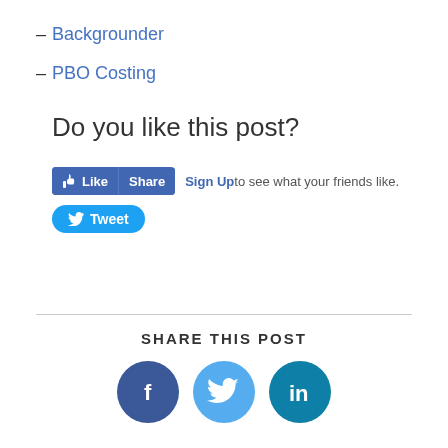– Backgrounder
– PBO Costing
Do you like this post?
[Figure (screenshot): Facebook Like and Share buttons with 'Sign Up to see what your friends like.' text, followed by a Twitter Tweet button]
SHARE THIS POST
[Figure (infographic): Three circular social media icons: Facebook (dark blue), Twitter (light blue), LinkedIn (teal)]